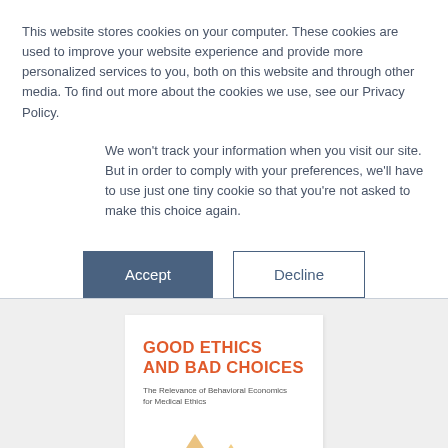This website stores cookies on your computer. These cookies are used to improve your website experience and provide more personalized services to you, both on this website and through other media. To find out more about the cookies we use, see our Privacy Policy.
We won't track your information when you visit our site. But in order to comply with your preferences, we'll have to use just one tiny cookie so that you're not asked to make this choice again.
Accept
Decline
[Figure (illustration): Book cover for 'Good Ethics and Bad Choices: The Relevance of Behavioral Economics for Medical Ethics' showing orange/yellow mountain peaks with handwritten labels including 'radiation', 'surgery', 'chemotherapy']